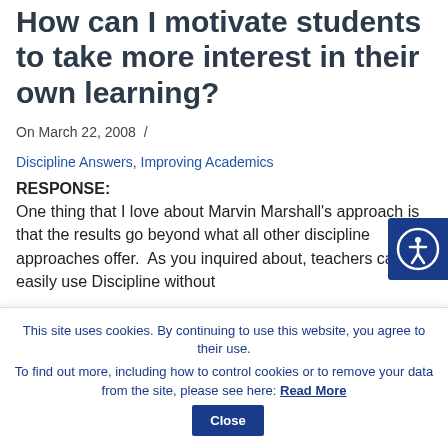How can I motivate students to take more interest in their own learning?
On March 22, 2008 / Discipline Answers, Improving Academics
RESPONSE:
One thing that I love about Marvin Marshall's approach is that the results go beyond what all other discipline approaches offer.  As you inquired about, teachers can easily use Discipline without
[Figure (other): Accessibility icon button (person with circle) on dark blue background]
This site uses cookies. By continuing to use this website, you agree to their use.
To find out more, including how to control cookies or to remove your data from the site, please see here: Read More  Close